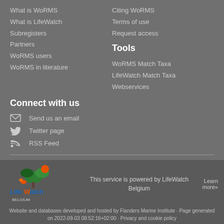What is WoRMS
What is LifeWatch
Subregisters
Partners
WoRMS users
WoRMS in literature
Citing WoRMS
Terms of use
Request access
Tools
WoRMS Match Taxa
LifeWatch Match Taxa
Webservices
Connect with us
Send us an email
Twitter page
RSS Feed
[Figure (logo): LifeWatch Belgium logo with colorful tree and bird icons]
This service is powered by LifeWatch Belgium
Learn more»
Website and databases developed and hosted by Flanders Marine Institute · Page generated on 2022-09-03 08:52:16+02:00 · Privacy and cookie policy